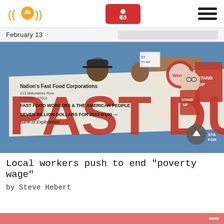NPR/news app header with logo, donate button, and menu
February 13
[Figure (photo): Protesters holding a large oversized check and signs reading 'Nation's Fast Food Corporations', 'FAST FOOD WORKERS & THE AMERICAN PEOPLE', 'SEVEN BILLION DOLLARS FOR 2013 0/100', 'Bank of Exploitation', 'PAST DUE', 'STAND UP', 'FOR A BETTER WAGE', outside a Wendy's restaurant]
Local workers push to end "poverty wage"
by Steve Hebert